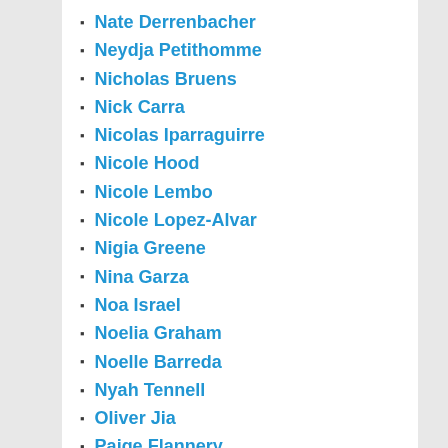Nate Derrenbacher
Neydja Petithomme
Nicholas Bruens
Nick Carra
Nicolas Iparraguirre
Nicole Hood
Nicole Lembo
Nicole Lopez-Alvar
Nigia Greene
Nina Garza
Noa Israel
Noelia Graham
Noelle Barreda
Nyah Tennell
Oliver Jia
Paige Flannery
Patricia Santana
Phoebe Fitz
Rebecca Cohen
Rebecca Fernandez
Regina Sanchez Jimenez